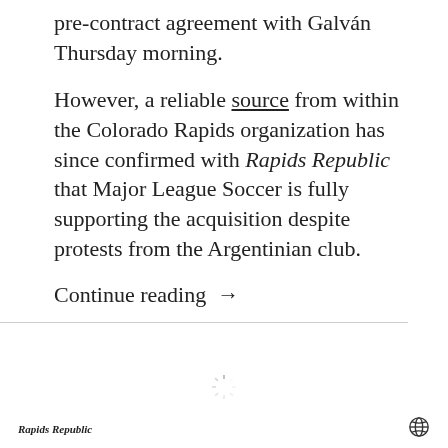pre-contract agreement with Galván Thursday morning.
However, a reliable source from within the Colorado Rapids organization has since confirmed with Rapids Republic that Major League Soccer is fully supporting the acquisition despite protests from the Argentinian club.
Continue reading →
[Figure (other): Loading spinner icon]
Rapids Republic